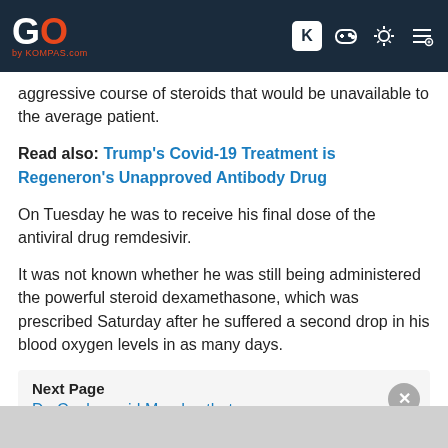GO by KOMPAS.com
aggressive course of steroids that would be unavailable to the average patient.
Read also: Trump's Covid-19 Treatment is Regeneron's Unapproved Antibody Drug
On Tuesday he was to receive his final dose of the antiviral drug remdesivir.
It was not known whether he was still being administered the powerful steroid dexamethasone, which was prescribed Saturday after he suffered a second drop in his blood oxygen levels in as many days.
Next Page
Dr. Conley said Monday that